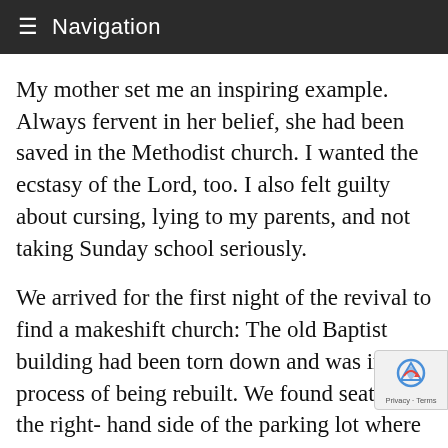Navigation
My mother set me an inspiring example. Always fervent in her belief, she had been saved in the Methodist church. I wanted the ecstasy of the Lord, too. I also felt guilty about cursing, lying to my parents, and not taking Sunday school seriously.
We arrived for the first night of the revival to find a makeshift church: The old Baptist building had been torn down and was in the process of being rebuilt. We found seats on the right- hand side of the parking lot where the service was going to be held. Sawdust covered the dirt, and the pulpit and piano had been moved out from the church. We sat under a roof of boards, tree limbs and brush held in place by a d slim poles, each topped by a naked light bulb, flashpoints of glare that looked like giant fireflies. I